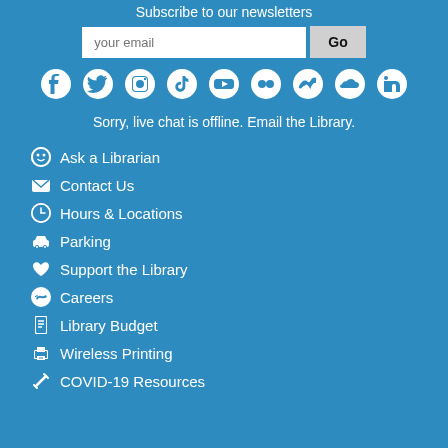Subscribe to our newsletters
your email [input] Go
[Figure (infographic): Social media icons row: Facebook, Twitter, Instagram, TikTok, YouTube, Flickr, BuzzFeed/Trending, SoundCloud, LinkedIn]
Sorry, live chat is offline. Email the Library.
Ask a Librarian
Contact Us
Hours & Locations
Parking
Support the Library
Careers
Library Budget
Wireless Printing
COVID-19 Resources